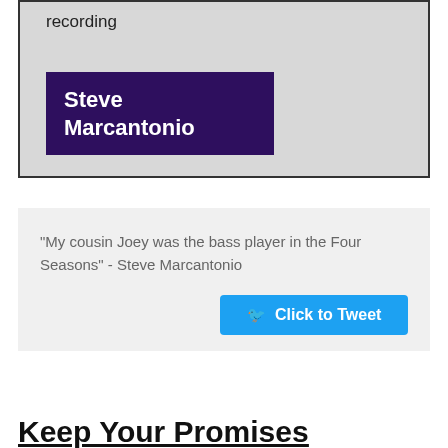recording
Steve Marcantonio
“My cousin Joey was the bass player in the Four Seasons” - Steve Marcantonio
Click to Tweet
Keep Your Promises